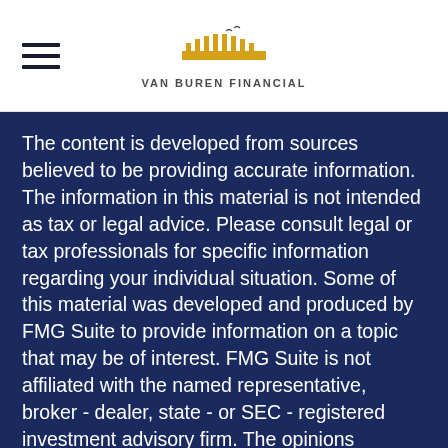[Figure (logo): Van Buren Financial logo — a bridge/arch shape in gold/yellow above the text 'VAN BUREN FINANCIAL']
The content is developed from sources believed to be providing accurate information. The information in this material is not intended as tax or legal advice. Please consult legal or tax professionals for specific information regarding your individual situation. Some of this material was developed and produced by FMG Suite to provide information on a topic that may be of interest. FMG Suite is not affiliated with the named representative, broker - dealer, state - or SEC - registered investment advisory firm. The opinions expressed and material provided are for general information, and should not be considered a solicitation for the purchase or sale of any security.